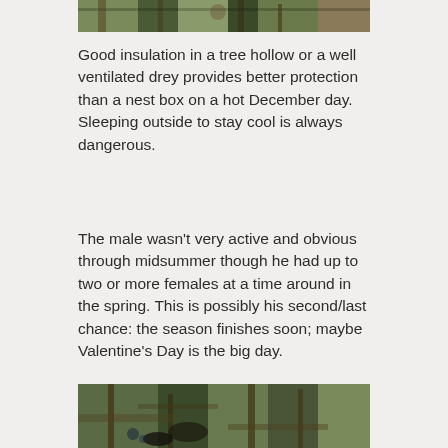[Figure (photo): Partial top edge of a nature/wildlife photograph showing ground cover with leaves, twigs and a partially visible animal]
Good insulation in a tree hollow or a well ventilated drey provides better protection than a nest box on a hot December day. Sleeping outside to stay cool is always dangerous.
The male wasn't very active and obvious through midsummer though he had up to two or more females at a time around in the spring. This is possibly his second/last chance: the season finishes soon; maybe Valentine's Day is the big day.
[Figure (photo): Nature/wildlife photograph showing ground cover with leaves, branches and a partially visible animal in a nest or hollow]